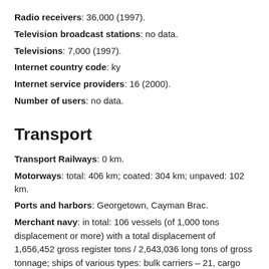Radio receivers: 36,000 (1997).
Television broadcast stations: no data.
Televisions: 7,000 (1997).
Internet country code: ky
Internet service providers: 16 (2000).
Number of users: no data.
Transport
Transport Railways: 0 km.
Motorways: total: 406 km; coated: 304 km; unpaved: 102 km.
Ports and harbors: Georgetown, Cayman Brac.
Merchant navy: in total: 106 vessels (of 1,000 tons displacement or more) with a total displacement of 1,656,452 gross register tons / 2,643,036 long tons of gross tonnage; ships of various types: bulk carriers – 21, cargo ships – 5,